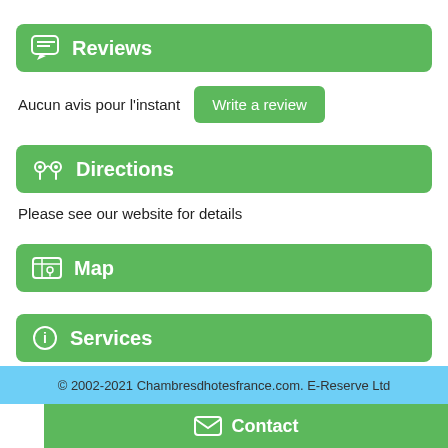Reviews
Aucun avis pour l'instant
Directions
Please see our website for details
Map
Services
© 2002-2021 Chambresdhotesfrance.com. E-Reserve Ltd